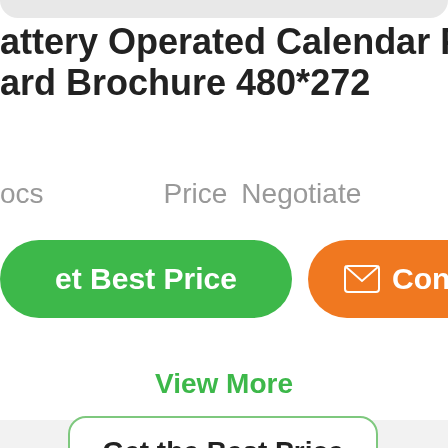attery Operated Calendar Promo ard Brochure 480*272
ocs          Price【Negotiate
et Best Price   Contac
View More
Get the Best Price